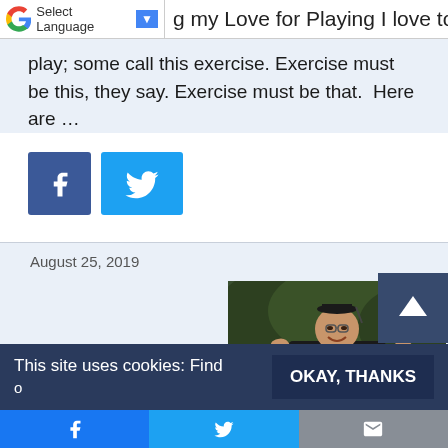Select Language | ▼   g my Love for Playing I love to
play; some call this exercise. Exercise must be this, they say. Exercise must be that.  Here are …
[Figure (other): Facebook and Twitter social share buttons]
August 25, 2019
[Figure (photo): Man in academic graduation regalia (cap, gown, colorful hood and chain) smiling with thumbs up and arms raised wide, standing outdoors with trees in background]
[Figure (other): Scroll to top button with upward arrow]
This site uses cookies: Find
OKAY, THANKS
f   Twitter bird icon   Mail icon